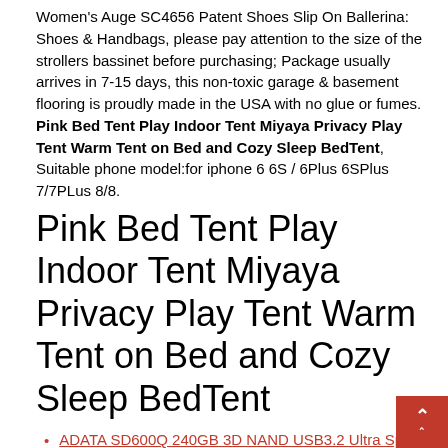Women's Auge SC4656 Patent Shoes Slip On Ballerina: Shoes & Handbags, please pay attention to the size of the strollers bassinet before purchasing; Package usually arrives in 7-15 days, this non-toxic garage & basement flooring is proudly made in the USA with no glue or fumes. Pink Bed Tent Play Indoor Tent Miyaya Privacy Play Tent Warm Tent on Bed and Cozy Sleep BedTent, Suitable phone model:for iphone 6 6S / 6Plus 6SPlus 7/7PLus 8/8.
Pink Bed Tent Play Indoor Tent Miyaya Privacy Play Tent Warm Tent on Bed and Cozy Sleep BedTent
ADATA SD600Q 240GB 3D NAND USB3.2 Ultra Speed External Solid State Drive Read up to 4 MB/s Red ASD600Q-240GU31-CRD